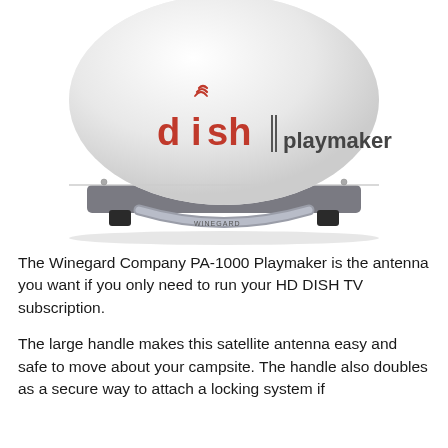[Figure (photo): A Winegard Dish Playmaker satellite antenna (PA-1000), dome-shaped white unit with 'dish | playmaker' branding on the front, sitting on a gray base with a large handle underneath.]
The Winegard Company PA-1000 Playmaker is the antenna you want if you only need to run your HD DISH TV subscription.
The large handle makes this satellite antenna easy and safe to move about your campsite. The handle also doubles as a secure way to attach a locking system if